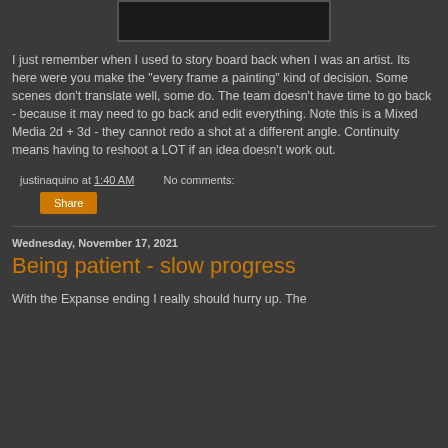[Figure (photo): Partial image visible at top of page, dark/black background with partial figure, cut off at top]
I just remember when I used to story board back when I was an artist. Its here were you make the "every frame a painting" kind of decision. Some scenes don't translate well, some do. The team doesn't have time to go back - because it may need to go back and edit everything. Note this is a Mixed Media 2d + 3d - they cannot redo a shot at a different angle. Continuity means having to reshoot a LOT if an idea doesn't work out.
justinaquino at 1:40 AM   No comments:
Share
Wednesday, November 17, 2021
Being patient - slow progress
With the Expanse ending I really should hurry up. The